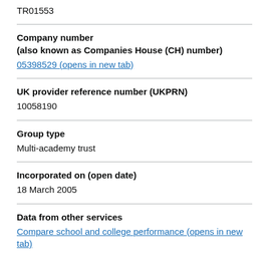TR01553
Company number
(also known as Companies House (CH) number)
05398529 (opens in new tab)
UK provider reference number (UKPRN)
10058190
Group type
Multi-academy trust
Incorporated on (open date)
18 March 2005
Data from other services
Compare school and college performance (opens in new tab)